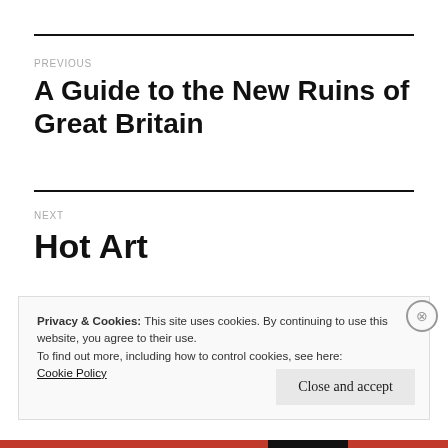PREVIOUS
A Guide to the New Ruins of Great Britain
NEXT
Hot Art
Privacy & Cookies: This site uses cookies. By continuing to use this website, you agree to their use.
To find out more, including how to control cookies, see here:
Cookie Policy
Close and accept